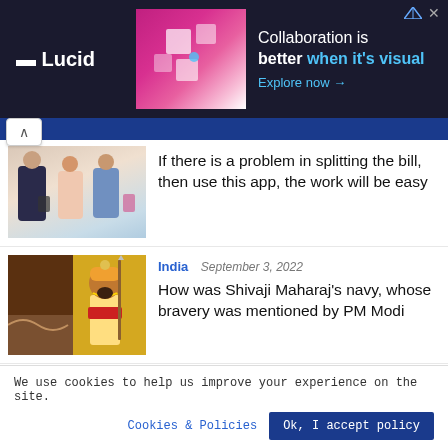[Figure (photo): Lucid advertisement banner: dark navy background, Lucid logo on left, decorative pink/white visual in center, text 'Collaboration is better when it's visual' with 'Explore now →' link on right]
If there is a problem in splitting the bill, then use this app, the work will be easy
India   September 3, 2022
How was Shivaji Maharaj's navy, whose bravery was mentioned by PM Modi
Sports   September 3, 2022
IND vs PAK: Ravindra Jadeja raised
We use cookies to help us improve your experience on the site.
Cookies & Policies
Ok, I accept policy